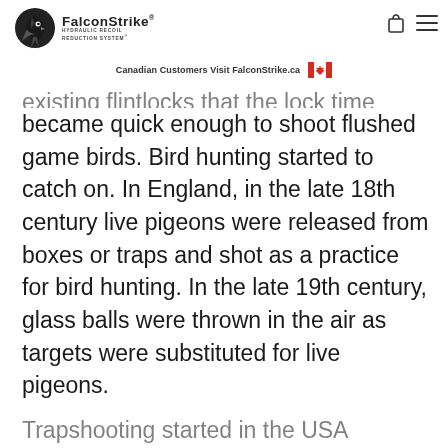FalconStrike® Hydraulic Recoil Reduction System®
Canadian Customers Visit FalconStrike.ca
existing flintlocks that the lock time became quick enough to shoot flushed game birds. Bird hunting started to catch on. In England, in the late 18th century live pigeons were released from boxes or traps and shot as a practice for bird hunting. In the late 19th century, glass balls were thrown in the air as targets were substituted for live pigeons.
Trapshooting started in the USA